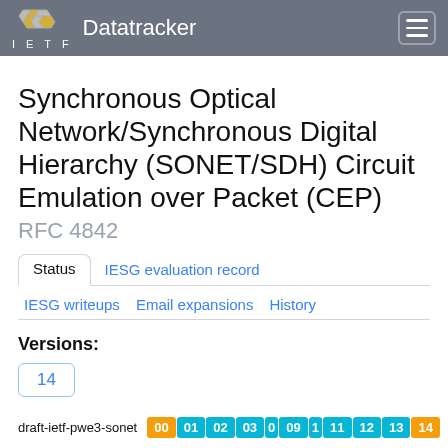IETF Datatracker
Synchronous Optical Network/Synchronous Digital Hierarchy (SONET/SDH) Circuit Emulation over Packet (CEP)
RFC 4842
Status | IESG evaluation record | IESG writeups | Email expansions | History
Versions:
14
draft-ietf-pwe3-sonet  00 01 02 03 0 09 1 11 12 13 14